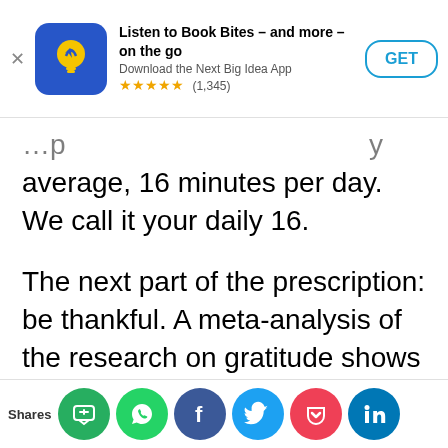[Figure (screenshot): App store banner for 'Next Big Idea' app with blue lightbulb icon, title 'Listen to Book Bites – and more – on the go', subtitle 'Download the Next Big Idea App', 5-star rating (1,345), and GET button]
average, 16 minutes per day. We call it your daily 16.
The next part of the prescription: be thankful. A meta-analysis of the research on gratitude shows that being grateful enhances one's kindness and service to others, encouraging a live-to-give mindset.
Next, be purposeful. For true fulfillment, rather than following your passion or chasing your dreams, be open to pursuing your purpose. One
[Figure (infographic): Social share bar at the bottom with 'Shares' label and six circular social media buttons: site share (green), WhatsApp (green), Facebook (dark blue), Twitter (light blue), Pocket (red), LinkedIn (blue)]